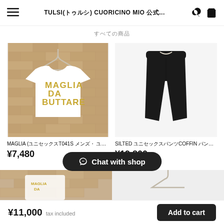TULSI(トゥルシ) CUORICINO MIO 公式...
すべての商品
[Figure (photo): White T-shirt with gold text MAGLIA DA BUTTARE on a brick wall background, on a hanger]
MAGLIA (ユニセックスT041S メンズ・ ユニセックス
¥7,480
[Figure (photo): Black tapered pants/joggers with white drawstring waistband on white background]
SILTED ユニセックスパンツCOFFIN パンツ ユ...
¥19,800
[Figure (photo): Partial view of product images in the bottom row, partially obscured by Chat with shop button]
Chat with shop
¥11,000 tax included
Add to cart